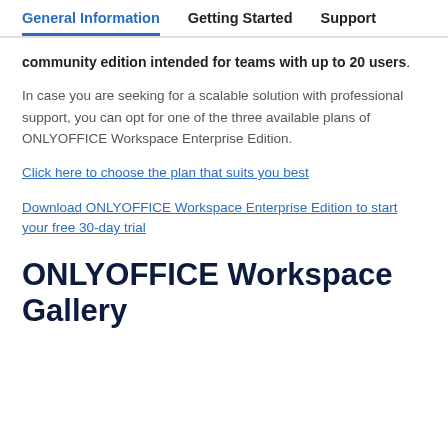General Information | Getting Started | Support
community edition intended for teams with up to 20 users.
In case you are seeking for a scalable solution with professional support, you can opt for one of the three available plans of ONLYOFFICE Workspace Enterprise Edition.
Click here to choose the plan that suits you best
Download ONLYOFFICE Workspace Enterprise Edition to start your free 30-day trial
ONLYOFFICE Workspace Gallery